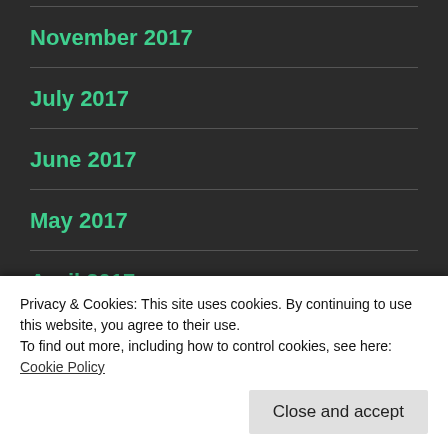November 2017
July 2017
June 2017
May 2017
April 2017
March 2017
November 2016
Privacy & Cookies: This site uses cookies. By continuing to use this website, you agree to their use.
To find out more, including how to control cookies, see here: Cookie Policy
Close and accept